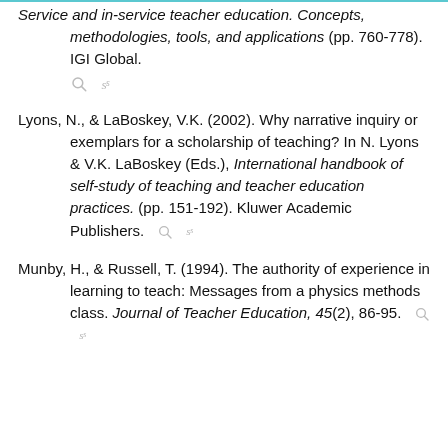Service and in-service teacher education. Concepts, methodologies, tools, and applications (pp. 760-778). IGI Global.
Lyons, N., & LaBoskey, V.K. (2002). Why narrative inquiry or exemplars for a scholarship of teaching? In N. Lyons & V.K. LaBoskey (Eds.), International handbook of self-study of teaching and teacher education practices. (pp. 151-192). Kluwer Academic Publishers.
Munby, H., & Russell, T. (1994). The authority of experience in learning to teach: Messages from a physics methods class. Journal of Teacher Education, 45(2), 86-95.